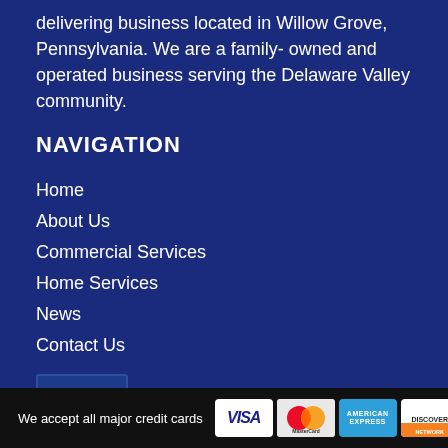delivering business located in Willow Grove, Pennsylvania. We are a family- owned and operated business serving the Delaware Valley community.
NAVIGATION
Home
About Us
Commercial Services
Home Services
News
Contact Us
[Figure (logo): Facebook icon button - dark blue square with white letter f]
We accept all major credit cards [VISA] [MasterCard] [American Express] [Discover Network]